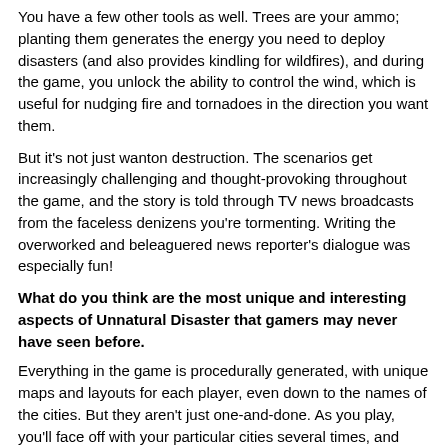You have a few other tools as well. Trees are your ammo; planting them generates the energy you need to deploy disasters (and also provides kindling for wildfires), and during the game, you unlock the ability to control the wind, which is useful for nudging fire and tornadoes in the direction you want them.
But it's not just wanton destruction. The scenarios get increasingly challenging and thought-provoking throughout the game, and the story is told through TV news broadcasts from the faceless denizens you're tormenting. Writing the overworked and beleaguered news reporter's dialogue was especially fun!
What do you think are the most unique and interesting aspects of Unnatural Disaster that gamers may never have seen before.
Everything in the game is procedurally generated, with unique maps and layouts for each player, even down to the names of the cities. But they aren't just one-and-done. As you play, you'll face off with your particular cities several times, and they start to get wise to your tricks. First, they'll level up with defences that counter your disasters. Lightning rods trap thunderstorms, wind turbines dissipate tornadoes, etc. Eventually, they build these "megastructures," which, without giving too much away, are essentially the boss battles of the game.
Your abilities are equally versatile, though. Power up your disasters by combining them - which is as easy as spawning them near one another, they'll automatically merge when close by. They can also be mixed in interesting and novel ways. A tornado that picks up fire will become a fire whirl and spread blazes downwind, while a